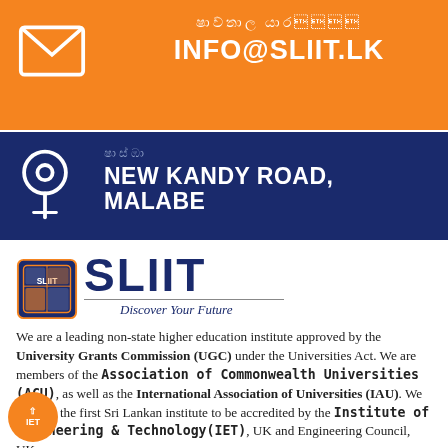[Figure (infographic): Orange bar with mail icon and email INFO@SLIIT.LK in white text with Sinhala label above]
[Figure (infographic): Navy bar with location pin icon and address NEW KANDY ROAD, MALABE in white text with Sinhala label above]
[Figure (logo): SLIIT logo with shield emblem, bold SLIIT text, and tagline Discover Your Future]
We are a leading non-state higher education institute approved by the University Grants Commission (UGC) under the Universities Act. We are members of the Association of Commonwealth Universities (ACU), as well as the International Association of Universities (IAU). We are also the first Sri Lankan institute to be accredited by the Institute of Engineering & Technology (IET), UK and Engineering Council, UK.